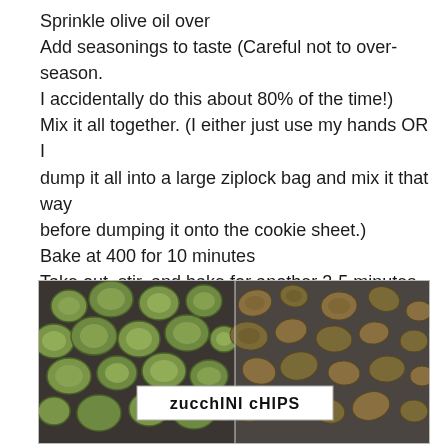Sprinkle olive oil over
Add seasonings to taste (Careful not to over-season. I accidentally do this about 80% of the time!)
Mix it all together. (I either just use my hands OR I dump it all into a large ziplock bag and mix it that way before dumping it onto the cookie sheet.)
Bake at 400 for 10 minutes
Take out, stir, and bake for another 3-5 minutes, or until crispy.
Enjoy!
[Figure (photo): Two side-by-side photos of zucchini chips on baking sheets — left shows raw sliced zucchini rounds laid out, right shows baked/roasted crispy zucchini chips. A white label overlay in the center reads 'zucchINI cHIPS' in a handwritten-style font.]